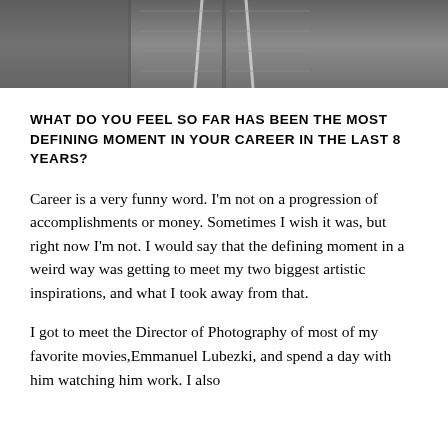[Figure (photo): Black and white photo cropped at top showing a person wearing a grey zip-up hoodie with white drawstrings visible]
WHAT DO YOU FEEL SO FAR HAS BEEN THE MOST DEFINING MOMENT IN YOUR CAREER IN THE LAST 8 YEARS?
Career is a very funny word. I'm not on a progression of accomplishments or money. Sometimes I wish it was, but right now I'm not. I would say that the defining moment in a weird way was getting to meet my two biggest artistic inspirations, and what I took away from that.
I got to meet the Director of Photography of most of my favorite movies,Emmanuel Lubezki, and spend a day with him watching him work. I also